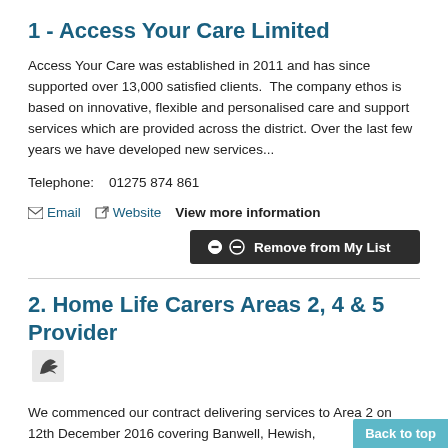1 - Access Your Care Limited
Access Your Care was established in 2011 and has since supported over 13,000 satisfied clients.  The company ethos is based on innovative, flexible and personalised care and support services which are provided across the district. Over the last few years we have developed new services...
Telephone:    01275 874 861
✉ Email   🔗 Website   View more information
⊖ Remove from My List
2. Home Life Carers Areas 2, 4 & 5 Provider
We commenced our contract delivering services to Area 2 on 12th December 2016 covering Banwell, Hewish,